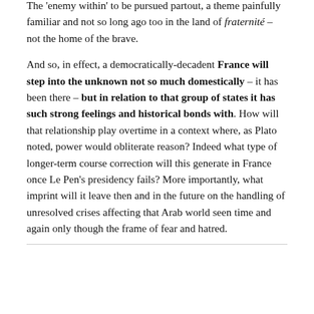The 'enemy within' to be pursued partout, a theme painfully familiar and not so long ago too in the land of fraternité – not the home of the brave.
And so, in effect, a democratically-decadent France will step into the unknown not so much domestically – it has been there – but in relation to that group of states it has such strong feelings and historical bonds with. How will that relationship play overtime in a context where, as Plato noted, power would obliterate reason? Indeed what type of longer-term course correction will this generate in France once Le Pen's presidency fails? More importantly, what imprint will it leave then and in the future on the handling of unresolved crises affecting that Arab world seen time and again only though the frame of fear and hatred.